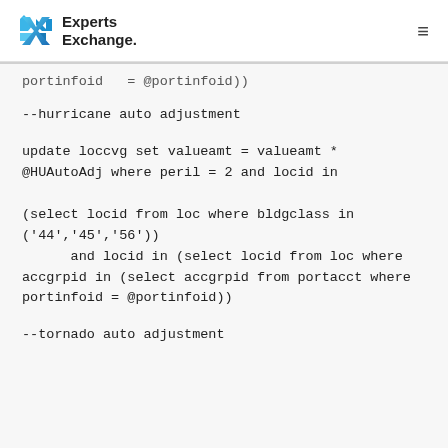Experts Exchange
portinfoid   = @portinfoid))
--hurricane auto adjustment
update loccvg set valueamt = valueamt * @HUAutoAdj where peril = 2 and locid in

(select locid from loc where bldgclass in ('44','45','56'))
      and locid in (select locid from loc where accgrpid in (select accgrpid from portacct where portinfoid = @portinfoid))
--tornado auto adjustment